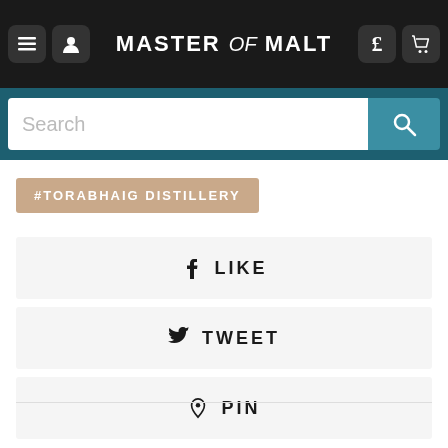Master of Malt — navigation header with menu, user, currency (£), and cart icons
Search
#TORABHAIG DISTILLERY
f LIKE
TWEET
PIN